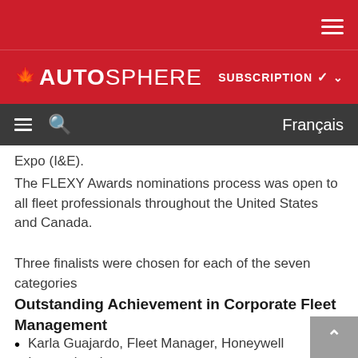AUTOSPHERE — SUBSCRIPTION — Français
Expo (I&E).
The FLEXY Awards nominations process was open to all fleet professionals throughout the United States and Canada.
Three finalists were chosen for each of the seven categories
Outstanding Achievement in Corporate Fleet Management
Karla Guajardo, Fleet Manager, Honeywell International